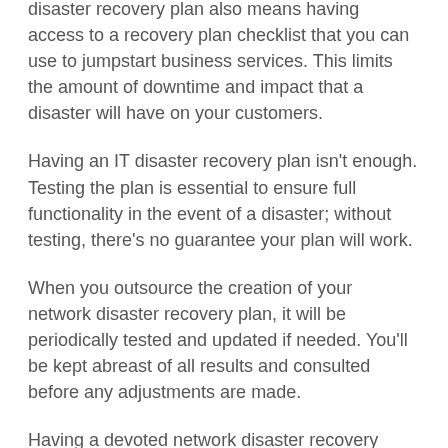disaster recovery plan also means having access to a recovery plan checklist that you can use to jumpstart business services. This limits the amount of downtime and impact that a disaster will have on your customers.
Having an IT disaster recovery plan isn't enough. Testing the plan is essential to ensure full functionality in the event of a disaster; without testing, there's no guarantee your plan will work.
When you outsource the creation of your network disaster recovery plan, it will be periodically tested and updated if needed. You'll be kept abreast of all results and consulted before any adjustments are made.
Having a devoted network disaster recovery team